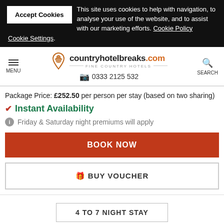Accept Cookies — This site uses cookies to help with navigation, to analyse your use of the website, and to assist with our marketing efforts. Cookie Policy
Cookie Settings.
countryhotelbreaks.com — FINE COUNTRY HOTELS — 0333 2125 532
Package Price: £252.50 per person per stay (based on two sharing)
✔ Instant Availability
ⓘ Friday & Saturday night premiums will apply
BOOK NOW
🎁 BUY VOUCHER
4 TO 7 NIGHT STAY